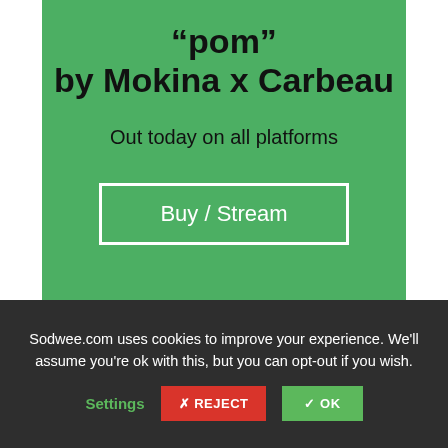“pom” by Mokina x Carbeau
Out today on all platforms
Buy / Stream
Sodwee.com uses cookies to improve your experience. We’ll assume you’re ok with this, but you can opt-out if you wish.
Settings
✗ REJECT
✓ OK